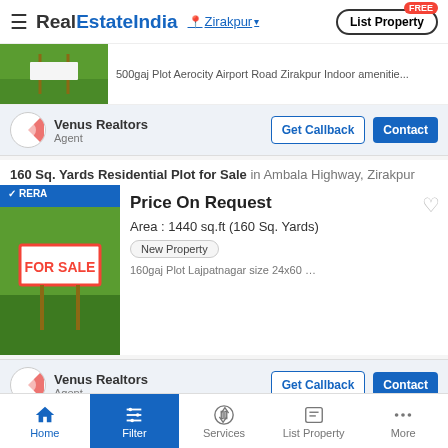RealEstateIndia — Zirakpur — List Property
[Figure (screenshot): Partial listing image showing green grass plot thumbnail]
500gaj Plot Aerocity Airport Road Zirakpur Indoor amenitie...
Venus Realtors
Agent
160 Sq. Yards Residential Plot for Sale in Ambala Highway, Zirakpur
[Figure (photo): For Sale sign on green grass plot with RERA badge]
Price On Request
Area : 1440 sq.ft (160 Sq. Yards)
New Property
160gaj Plot Lajpatnagar size 24x60 near By maryland Hotel n
Venus Realtors
Agent
100 Sq. Yards Residential Plot for Sale in Lohgarh Road...
[Figure (photo): For Sale sign on green grass plot with RERA badge]
Price On Request
Area : 900 sq.ft (100 Sq. Yards)
Home | Filter | Services | List Property | More